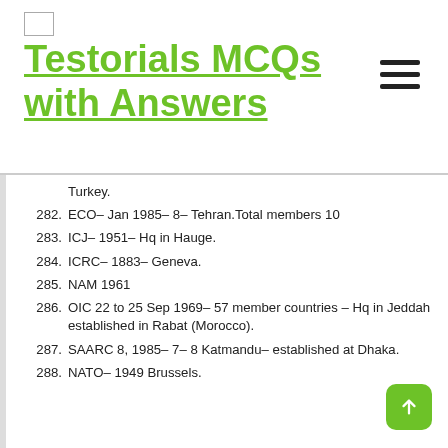Testorials MCQs with Answers
Turkey.
282. ECO- Jan 1985- 8- Tehran.Total members 10
283. ICJ- 1951- Hq in Hauge.
284. ICRC- 1883- Geneva.
285. NAM 1961
286. OIC 22 to 25 Sep 1969- 57 member countries – Hq in Jeddah established in Rabat (Morocco).
287. SAARC 8, 1985- 7- 8 Katmandu- established at Dhaka.
288. NATO- 1949 Brussels.